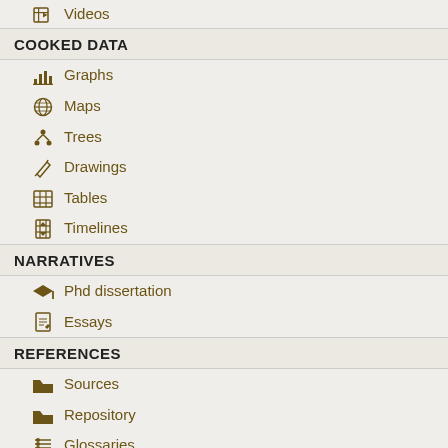Videos
COOKED DATA
Graphs
Maps
Trees
Drawings
Tables
Timelines
NARRATIVES
Phd dissertation
Essays
REFERENCES
Sources
Repository
Glossaries
DATABASES
Ad Agencies